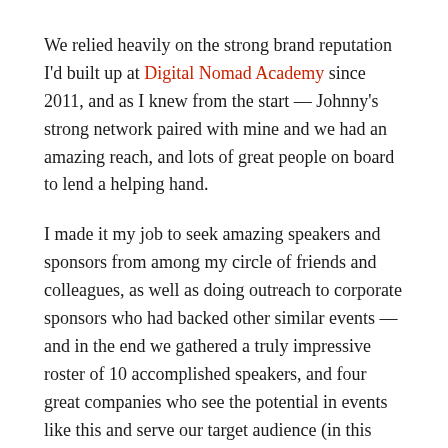We relied heavily on the strong brand reputation I'd built up at Digital Nomad Academy since 2011, and as I knew from the start — Johnny's strong network paired with mine and we had an amazing reach, and lots of great people on board to lend a helping hand.
I made it my job to seek amazing speakers and sponsors from among my circle of friends and colleagues, as well as doing outreach to corporate sponsors who had backed other similar events — and in the end we gathered a truly impressive roster of 10 accomplished speakers, and four great companies who see the potential in events like this and serve our target audience (in this case, the business travel crowd, and entrepreneurs living in Asia as expats).
With a little persistence and the courage to ask people for their help, all the pieces came together, and we were